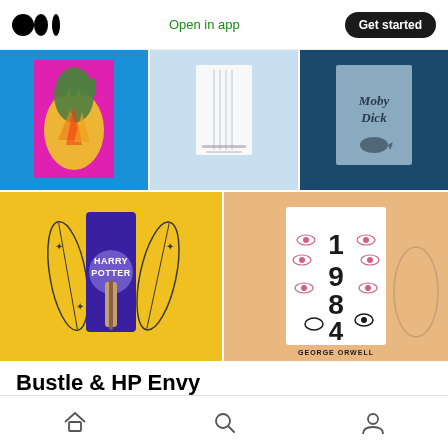Medium logo | Open in app | Get started
[Figure (illustration): Grid of illustrated book cover artwork: top row shows three covers (colorful fantasy hand/flame on blue/magenta, minimalist pale blue vertical book, Moby Dick on dark teal background), bottom row shows two covers (Harry Potter with feathers on yellow background, 1984 by George Orwell with eyes on tan background)]
Bustle & HP Envy
(Freelance — 2015)
Home | Search | Profile